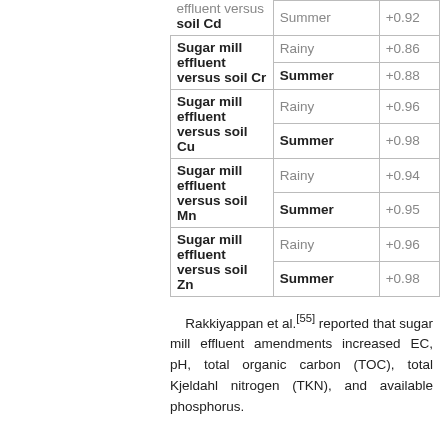| Parameter | Season | r value |
| --- | --- | --- |
| effluent versus soil Cd | Summer | +0.92 |
| Sugar mill effluent versus soil Cr | Rainy | +0.86 |
|  | Summer | +0.88 |
| Sugar mill effluent versus soil Cu | Rainy | +0.96 |
|  | Summer | +0.98 |
| Sugar mill effluent versus soil Mn | Rainy | +0.94 |
|  | Summer | +0.95 |
| Sugar mill effluent versus soil Zn | Rainy | +0.96 |
|  | Summer | +0.98 |
Rakkiyappan et al.[55] reported that sugar mill effluent amendments increased EC, pH, total organic carbon (TOC), total Kjeldahl nitrogen (TKN), and available phosphorus.